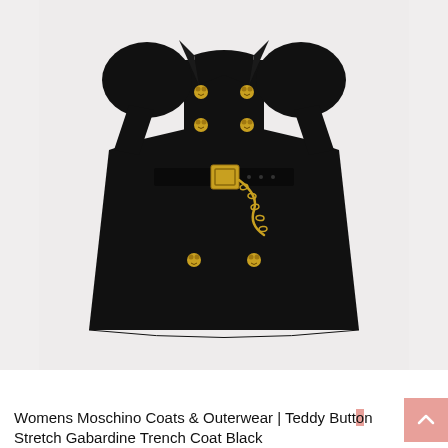[Figure (photo): A black double-breasted trench coat by Moschino with gold teddy bear buttons, a black belt with gold buckle, a gold chain detail, and puffed sleeves. Displayed on a light gray background.]
Womens Moschino Coats & Outerwear | Teddy Button Stretch Gabardine Trench Coat Black